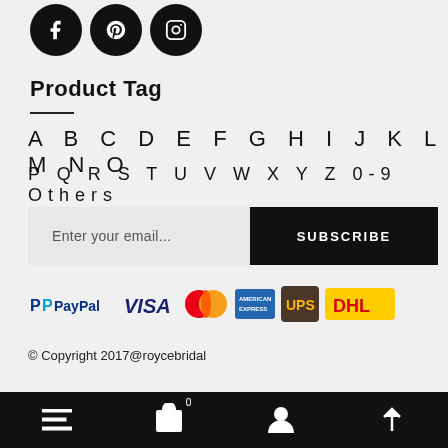[Figure (illustration): Three social media icons (Facebook, Pinterest, Instagram) as white symbols on black circles]
Product Tag
A B C D E F G H I J K L M N O
P Q R S T U V W X Y Z 0-9 Others
[Figure (illustration): Email subscription form with placeholder 'Enter your email...' and black SUBSCRIBE button]
[Figure (illustration): Payment method logos: PayPal, VISA, Mastercard, American Express, UPS, DHL]
© Copyright 2017@roycebridal
[Figure (illustration): Bottom navigation bar with hamburger menu, shopping bag with 0 badge, person icon, and up arrow icon]